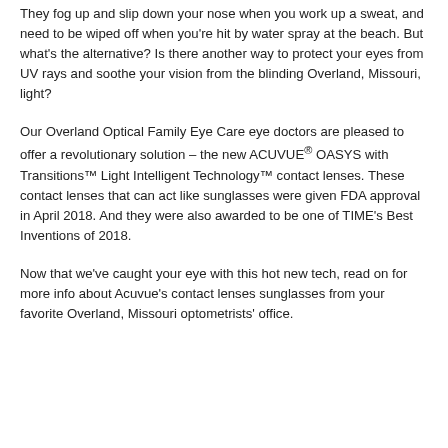They fog up and slip down your nose when you work up a sweat, and need to be wiped off when you're hit by water spray at the beach. But what's the alternative? Is there another way to protect your eyes from UV rays and soothe your vision from the blinding Overland, Missouri, light?
Our Overland Optical Family Eye Care eye doctors are pleased to offer a revolutionary solution – the new ACUVUE® OASYS with Transitions™ Light Intelligent Technology™ contact lenses. These contact lenses that can act like sunglasses were given FDA approval in April 2018. And they were also awarded to be one of TIME's Best Inventions of 2018.
Now that we've caught your eye with this hot new tech, read on for more info about Acuvue's contact lenses sunglasses from your favorite Overland, Missouri optometrists' office.